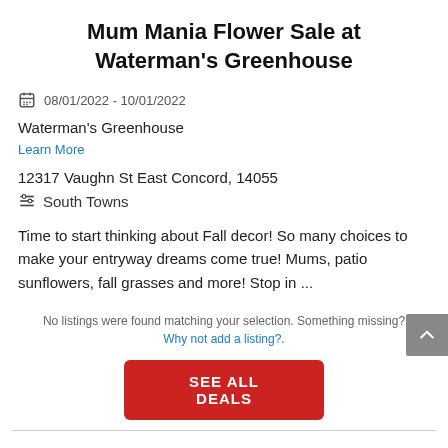Mum Mania Flower Sale at Waterman's Greenhouse
08/01/2022 - 10/01/2022
Waterman's Greenhouse
Learn More
12317 Vaughn St East Concord, 14055
South Towns
Time to start thinking about Fall decor! So many choices to make your entryway dreams come true! Mums, patio sunflowers, fall grasses and more! Stop in ...
No listings were found matching your selection. Something missing? Why not add a listing?.
SEE ALL DEALS